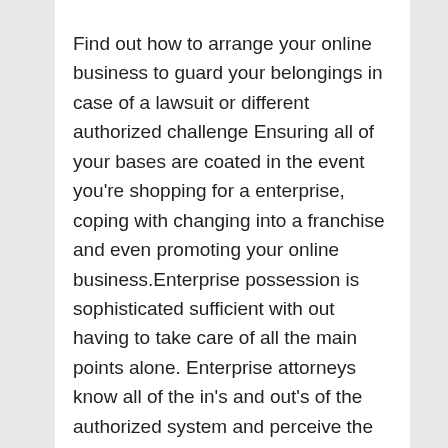Find out how to arrange your online business to guard your belongings in case of a lawsuit or different authorized challenge Ensuring all of your bases are coated in the event you're shopping for a enterprise, coping with changing into a franchise and even promoting your online business.Enterprise possession is sophisticated sufficient with out having to take care of all the main points alone. Enterprise attorneys know all of the in's and out's of the authorized system and perceive the traps and pitfalls that small enterprise house owners need to cope with. Consulting with one throughout all phases of your online business could appear to be an pointless expense, however like having